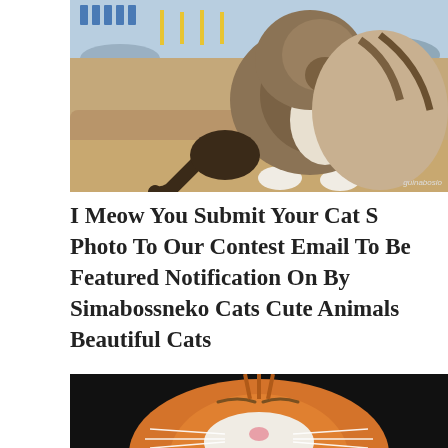[Figure (photo): Close-up photo of a tabby cat walking on sandy ground near the beach, with beach chairs and yellow poles visible in the background. The cat is brown/grey striped with white markings, viewed from a low angle.]
I Meow You Submit Your Cat S Photo To Our Contest Email To Be Featured Notification On By Simabossneko Cats Cute Animals Beautiful Cats
[Figure (photo): Close-up photo of an orange and white tabby cat with eyes closed, against a dark/black background, showing its whiskers and pink nose.]